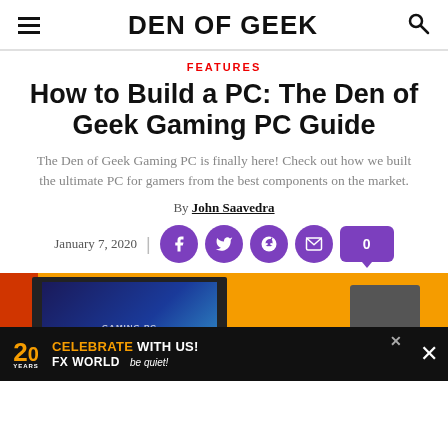DEN OF GEEK
FEATURES
How to Build a PC: The Den of Geek Gaming PC Guide
The Den of Geek Gaming PC is finally here! Check out how we built the ultimate PC for gamers from the best components on the market.
By John Saavedra
January 7, 2020
[Figure (screenshot): Hero image area with orange background, red left bar, PC screenshot and components box on the right. Ad banner at bottom: 20 YEARS CELEBRATE WITH US! FX WORLD be quiet!]